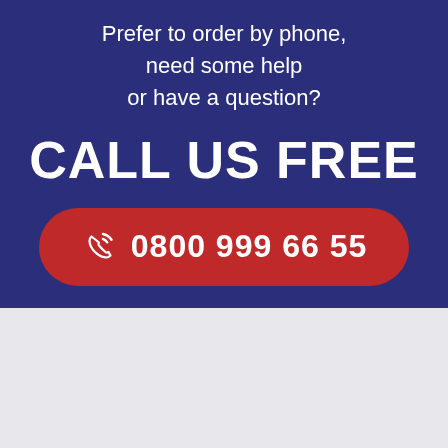Prefer to order by phone, need some help or have a question?
CALL US FREE
0800 999 66 55
All orders delivered fully tracked by Royal Mail